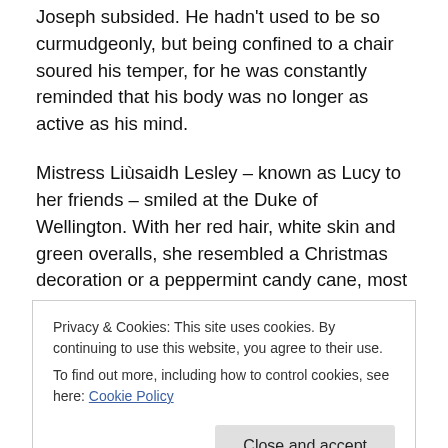Joseph subsided. He hadn't used to be so curmudgeonly, but being confined to a chair soured his temper, for he was constantly reminded that his body was no longer as active as his mind.
Mistress Liùsaidh Lesley – known as Lucy to her friends – smiled at the Duke of Wellington. With her red hair, white skin and green overalls, she resembled a Christmas decoration or a peppermint candy cane, most appropriate for the coming winter season. She turned to the Duke.
“Good evening, your Grace. I’m assuming you didn’t warn
Privacy & Cookies: This site uses cookies. By continuing to use this website, you agree to their use.
To find out more, including how to control cookies, see here: Cookie Policy
Close and accept